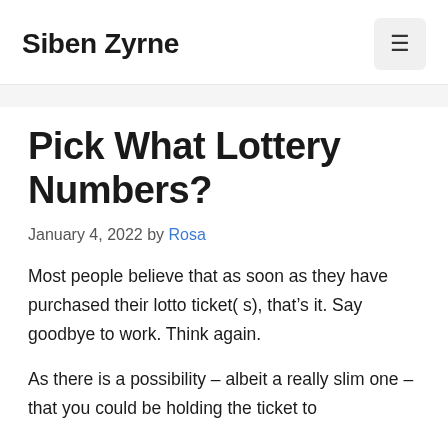Siben Zyrne
Pick What Lottery Numbers?
January 4, 2022 by Rosa
Most people believe that as soon as they have purchased their lotto ticket( s), that’s it. Say goodbye to work. Think again.
As there is a possibility – albeit a really slim one – that you could be holding the ticket to